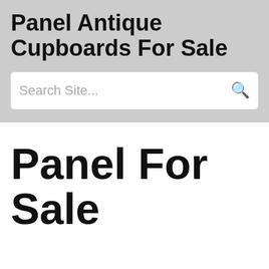Panel Antique Cupboards For Sale
Search Site...
Panel For Sale